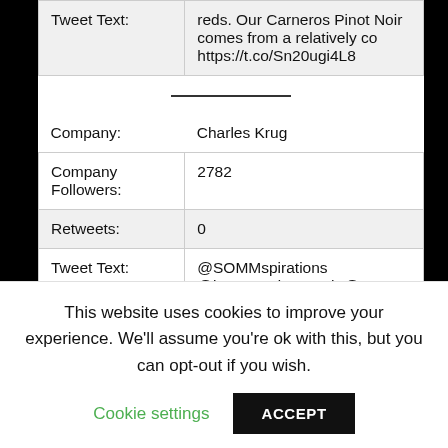| Field | Value |
| --- | --- |
| Tweet Text: | reds. Our Carneros Pinot Noir comes from a relatively co https://t.co/Sn20ugi4L8 |
|  |  |
| Company: | Charles Krug |
| Company Followers: | 2782 |
| Retweets: | 0 |
| Tweet Text: | @SOMMspirations @longmeadowranch @Artesa @GottsRoadside @OxbowPubMarket @VisitNapaValley Just let us know when you |
This website uses cookies to improve your experience. We'll assume you're ok with this, but you can opt-out if you wish.
Cookie settings  ACCEPT